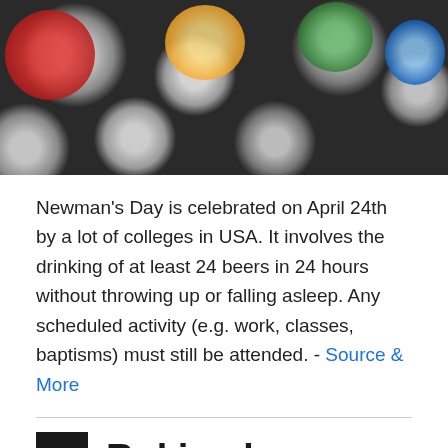[Figure (photo): Top-down view of multiple aluminum beverage cans on a dark background]
Newman's Day is celebrated on April 24th by a lot of colleges in USA. It involves the drinking of at least 24 beers in 24 hours without throwing up or falling asleep. Any scheduled activity (e.g. work, classes, baptisms) must still be attended. - Source & More
2 Rokjesdag
[Figure (photo): Crowd of people outdoors, partially obscured by adpushup watermark]